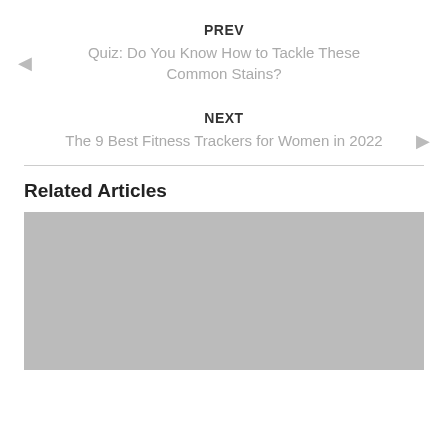PREV
Quiz: Do You Know How to Tackle These Common Stains?
NEXT
The 9 Best Fitness Trackers for Women in 2022
Related Articles
[Figure (photo): Gray placeholder image for a related article]